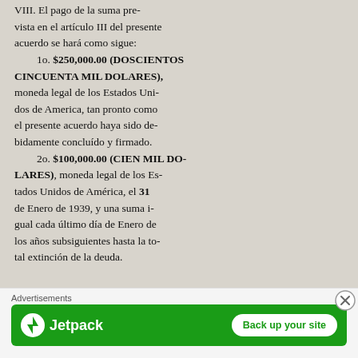VIII. El pago de la suma prevista en el artículo III del presente acuerdo se hará como sigue:
1o. $250,000.00 (DOSCIENTOS CINCUENTA MIL DOLARES), moneda legal de los Estados Unidos de America, tan pronto como el presente acuerdo haya sido debidamente concluído y firmado.
2o. $100,000.00 (CIEN MIL DOLARES), moneda legal de los Estados Unidos de América, el 31 de Enero de 1939, y una suma igual cada último día de Enero de los años subsiguientes hasta la total extinción de la deuda.
[Figure (other): Jetpack advertisement banner with green background, Jetpack logo and lightning bolt icon on the left, and 'Back up your site' white button on the right.]